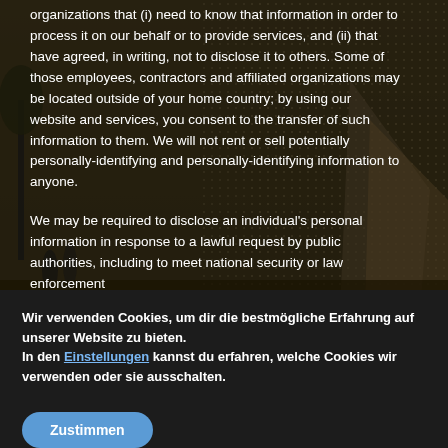organizations that (i) need to know that information in order to process it on our behalf or to provide services, and (ii) that have agreed, in writing, not to disclose it to others. Some of those employees, contractors and affiliated organizations may be located outside of your home country; by using our website and services, you consent to the transfer of such information to them. We will not rent or sell potentially personally-identifying and personally-identifying information to anyone.
We may be required to disclose an individual's personal information in response to a lawful request by public authorities, including to meet national security or law enforcement
[Figure (photo): Background photo of an outdoor scene with palm trees and a modern building structure, shown in dark/sepia tones with a dark overlay]
Wir verwenden Cookies, um dir die bestmögliche Erfahrung auf unserer Website zu bieten.
In den Einstellungen kannst du erfahren, welche Cookies wir verwenden oder sie ausschalten.
Zustimmen